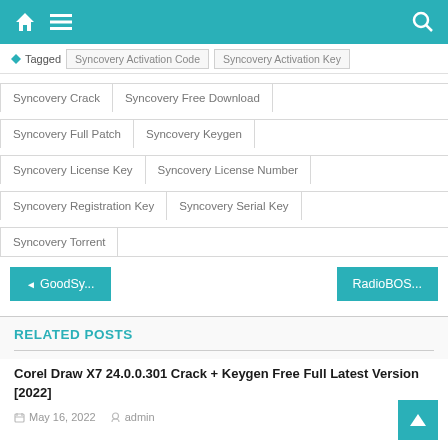Navigation bar with home icon, hamburger menu, and search icon
Tagged | Syncovery Activation Code | Syncovery Activation Key
Syncovery Crack | Syncovery Free Download
Syncovery Full Patch | Syncovery Keygen
Syncovery License Key | Syncovery License Number
Syncovery Registration Key | Syncovery Serial Key
Syncovery Torrent
◄ GoodSy...
RadioBOS...
RELATED POSTS
Corel Draw X7 24.0.0.301 Crack + Keygen Free Full Latest Version [2022]
May 16, 2022  admin